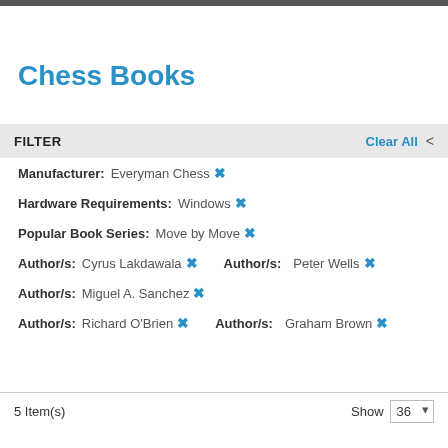Chess Books
FILTER
Manufacturer: Everyman Chess ×
Hardware Requirements: Windows ×
Popular Book Series: Move by Move ×
Author/s: Cyrus Lakdawala × Author/s: Peter Wells ×
Author/s: Miguel A. Sanchez ×
Author/s: Richard O'Brien × Author/s: Graham Brown ×
5 Item(s) Show 36